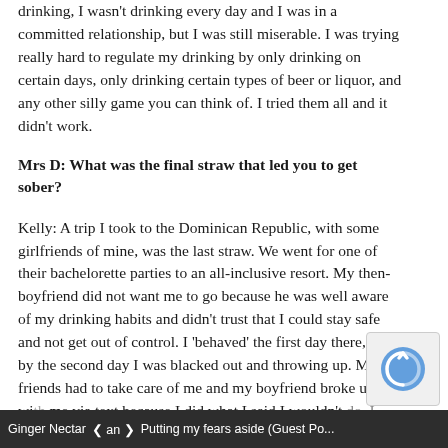drinking, I wasn't drinking every day and I was in a committed relationship, but I was still miserable. I was trying really hard to regulate my drinking by only drinking on certain days, only drinking certain types of beer or liquor, and any other silly game you can think of. I tried them all and it didn't work.
Mrs D: What was the final straw that led you to get sober?
Kelly: A trip I took to the Dominican Republic, with some girlfriends of mine, was the last straw. We went for one of their bachelorette parties to an all-inclusive resort. My then-boyfriend did not want me to go because he was well aware of my drinking habits and didn't trust that I could stay safe and not get out of control. I 'behaved' the first day there, but by the second day I was blacked out and throwing up. My friends had to take care of me and my boyfriend broke up with me via text because I did what I said I wouldn't do. I was full of guilt and embarrassment, extremely hungover and in tears in the resort...
Ginger Nectar  ❮ an ❯  Putting my fears aside (Guest Po...